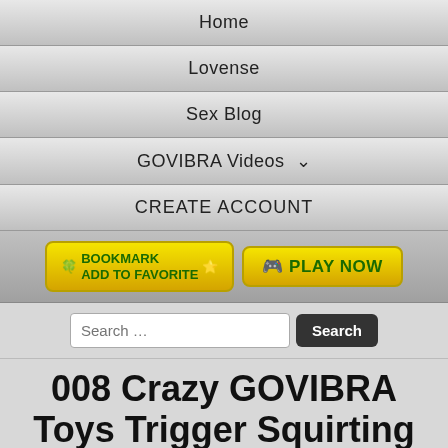Home
Lovense
Sex Blog
GOVIBRA Videos ∨
CREATE ACCOUNT
[Figure (screenshot): Two buttons: 'BOOKMARK ADD TO FAVORITE' and 'PLAY NOW' in yellow gradient style]
Search ...
008 Crazy GOVIBRA Toys Trigger Squirting Cumming Compilation 2 NO WM aariana4u Live Porn Cam Sex Video